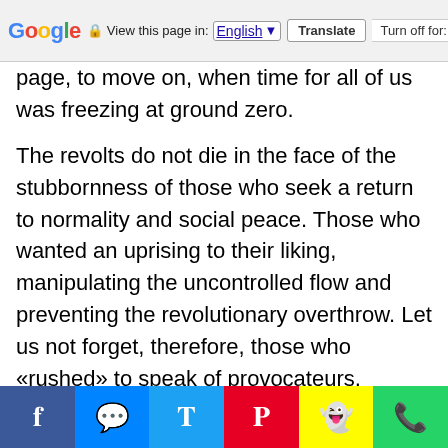Google — View this page in: English ▼  Translate  Turn off for: S
page, to move on, when time for all of us was freezing at ground zero.
The revolts do not die in the face of the stubbornness of those who seek a return to normality and social peace. Those who wanted an uprising to their liking, manipulating the uncontrolled flow and preventing the revolutionary overthrow. Let us not forget, therefore, those who «rushed» to speak of provocateurs, infecting armed action once again, in the face of the armed reprisals of the Revolutionary Struggle in Goudi and Exarchia against the mercenary army of occupation of the Republic. But when we all shout together that «blood runs, vengeance demands»,
Facebook | Messenger | Twitter | Pinterest | Snapchat | WhatsApp